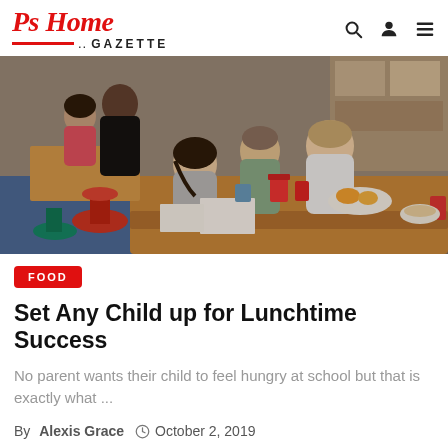Ps Home GAZETTE
[Figure (photo): Children sitting at a classroom table eating breakfast/lunch with milk cartons, fruit, and cereal bowls. A girl in a gray sweater looks at the camera. Red mushroom-shaped stools visible in background.]
FOOD
Set Any Child up for Lunchtime Success
No parent wants their child to feel hungry at school but that is exactly what ...
By Alexis Grace   October 2, 2019